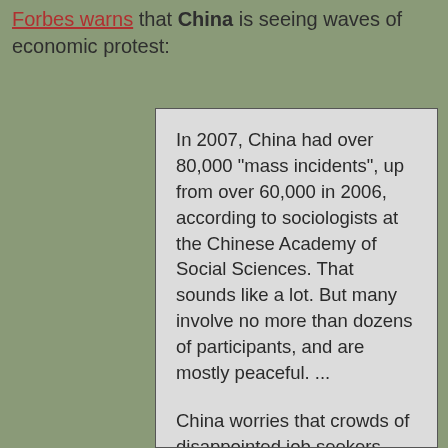Forbes warns that China is seeing waves of economic protest:
In 2007, China had over 80,000 "mass incidents", up from over 60,000 in 2006, according to sociologists at the Chinese Academy of Social Sciences. That sounds like a lot. But many involve no more than dozens of participants, and are mostly peaceful. ...

China worries that crowds of disappointed job seekers could galvanise into protests or riots, especially if the economic slowdown gathers momentum. The government's biggest worries are the migrant workers moving from farms to find work in cities and industrial zones. Some 20 million of the country's 130 million migrant workers have recently lost their jobs, according to one official count.